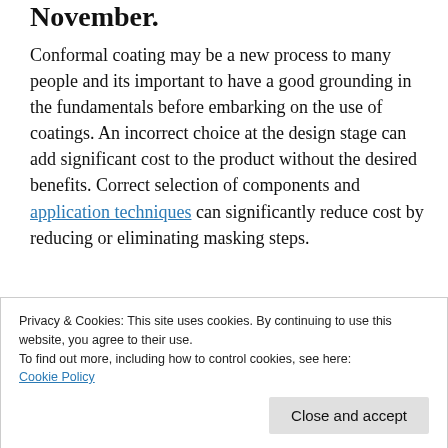November.
Conformal coating may be a new process to many people and its important to have a good grounding in the fundamentals before embarking on the use of coatings. An incorrect choice at the design stage can add significant cost to the product without the desired benefits. Correct selection of components and application techniques can significantly reduce cost by reducing or eliminating masking steps.
Privacy & Cookies: This site uses cookies. By continuing to use this website, you agree to their use.
To find out more, including how to control cookies, see here: Cookie Policy